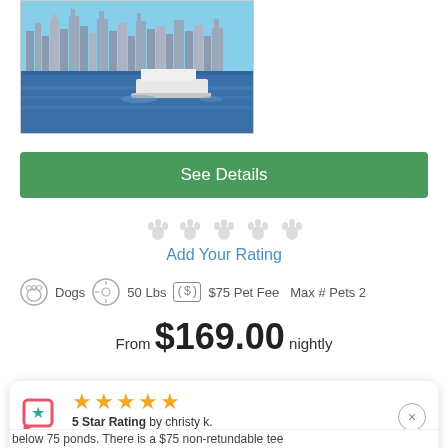[Figure (photo): Photo of New York City skyline viewed from the water with a ferry boat in the foreground on a sunny day.]
See Details
[Figure (other): Five paw print icons for rating]
Add Your Rating
Dogs  50 Lbs  ($) $75 Pet Fee  Max # Pets 2
From $169.00 nightly
5 Star Rating by christy k.
08/28/22
below 75 ponds. There is a $75 non-retundable tee